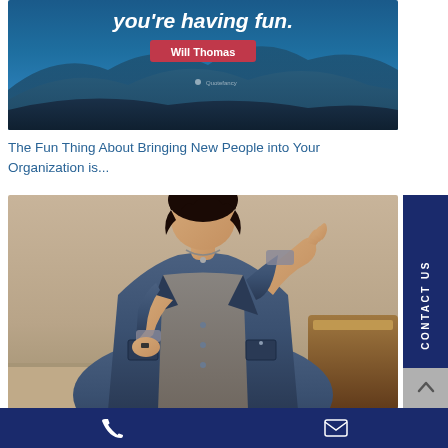[Figure (photo): Blue mountain background with bold italic white quote text 'you're having fun.' and a pink/red name badge reading 'Will Thomas']
The Fun Thing About Bringing New People into Your Organization is...
[Figure (photo): Woman in denim jacket speaking or presenting at a podium, gesturing with her hand]
CONTACT US | phone icon | email icon